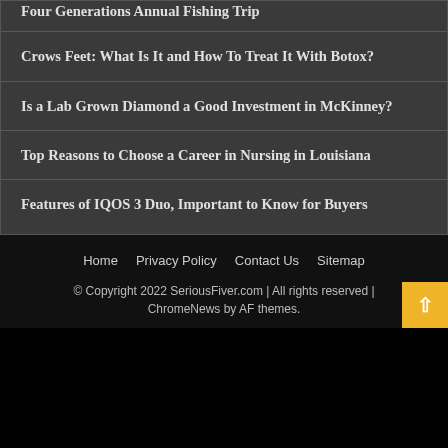Four Generations Annual Fishing Trip
Crows Feet: What Is It and How To Treat It With Botox?
Is a Lab Grown Diamond a Good Investment in McKinney?
Top Reasons to Choose a Career in Nursing in Louisiana
Features of IQOS 3 Duo, Important to Know for Buyers
Home    Privacy Policy    Contact Us    Sitemap
© Copyright 2022 SeriousFiver.com | All rights reserved | ChromeNews by AF themes.